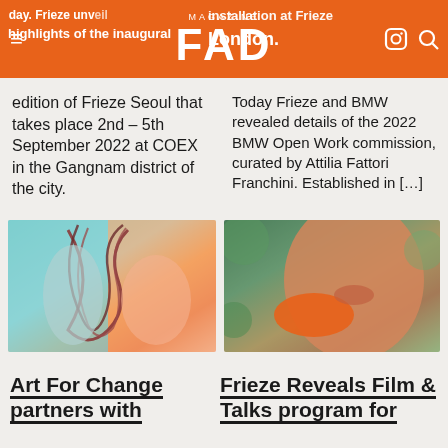FAD magazine
edition of Frieze Seoul that takes place 2nd – 5th September 2022 at COEX in the Gangnam district of the city.
Today Frieze and BMW revealed details of the 2022 BMW Open Work commission, curated by Attilia Fattori Franchini. Established in […]
[Figure (photo): Two people with colorful ropes/strings against teal and orange background]
[Figure (photo): Close-up portrait of a person holding an orange object near their face, outdoor green background]
Art For Change partners with
Frieze Reveals Film & Talks program for